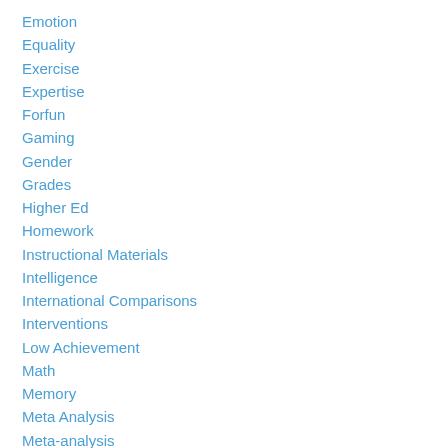Emotion
Equality
Exercise
Expertise
Forfun
Gaming
Gender
Grades
Higher Ed
Homework
Instructional Materials
Intelligence
International Comparisons
Interventions
Low Achievement
Math
Memory
Meta Analysis
Meta-analysis
Metacognition